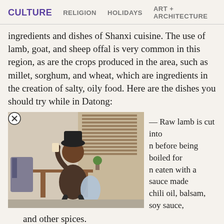CULTURE   RELIGION   HOLIDAYS   ART + ARCHITECTURE
ingredients and dishes of Shanxi cuisine. The use of lamb, goat, and sheep offal is very common in this region, as are the crops produced in the area, such as millet, sorghum, and wheat, which are ingredients in the creation of salty, oily food. Here are the dishes you should try while in Datong:
[Figure (photo): A person sitting at a cafe table, sipping a drink, with window blinds in the background. An advertisement overlay popup with a close (X) button in the top-left corner.]
— Raw lamb is cut into n before being boiled for n eaten with a sauce made chili oil, balsam, soy sauce, and other spices.
Cat ear noodles — These are delicious noodles shaped like cat ears. They are traditionally served with a tasty meat sauce or a sauce made